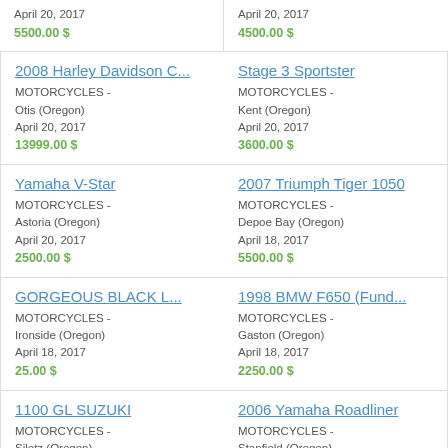April 20, 2017
5500.00 $
April 20, 2017
4500.00 $
2008 Harley Davidson C...
MOTORCYCLES - Otis (Oregon)
April 20, 2017
13999.00 $
Stage 3 Sportster
MOTORCYCLES - Kent (Oregon)
April 20, 2017
3600.00 $
Yamaha V-Star
MOTORCYCLES - Astoria (Oregon)
April 20, 2017
2500.00 $
2007 Triumph Tiger 1050
MOTORCYCLES - Depoe Bay (Oregon)
April 18, 2017
5500.00 $
GORGEOUS BLACK L...
MOTORCYCLES - Ironside (Oregon)
April 18, 2017
25.00 $
1998 BMW F650 (Fund...
MOTORCYCLES - Gaston (Oregon)
April 18, 2017
2250.00 $
1100 GL SUZUKI
MOTORCYCLES - Siletz (Oregon)
April 18, 2017
2500.00 $
2006 Yamaha Roadliner
MOTORCYCLES - Stanfield (Oregon)
April 18, 2017
5500.00 $